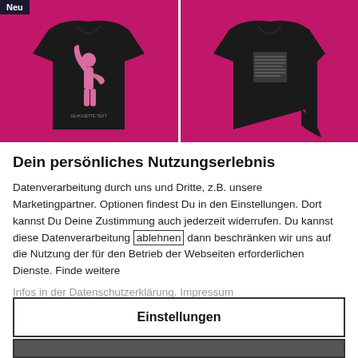[Figure (photo): Two black t-shirts displayed on bright pink/magenta background. Left shirt has a pink silhouette of a person with fist raised. Right shirt has a small text/graphic block on the chest. A 'Neu' (New) badge is in the top-left corner.]
Dein persönliches Nutzungserlebnis
Datenverarbeitung durch uns und Dritte, z.B. unsere Marketingpartner. Optionen findest Du in den Einstellungen. Dort kannst Du Deine Zustimmung auch jederzeit widerrufen. Du kannst diese Datenverarbeitung ablehnen dann beschränken wir uns auf die Nutzung der für den Betrieb der Webseiten erforderlichen Dienste. Finde weitere Infos in der Datenschutzerklärung. Impressum
Einstellungen